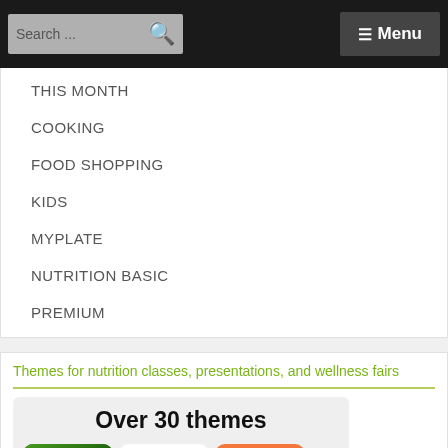Search ... ☰ Menu
THIS MONTH
COOKING
FOOD SHOPPING
KIDS
MYPLATE
NUTRITION BASIC
PREMIUM
Themes for nutrition classes, presentations, and wellness fairs
[Figure (infographic): Promotional graphic showing 'Over 30 themes' with three theme cover images: Real Food Grows (green background with vegetables), 10,000 Steps (white background with heart made of measuring tape and shoes), and Sodium Math (orange background with dot grid).]